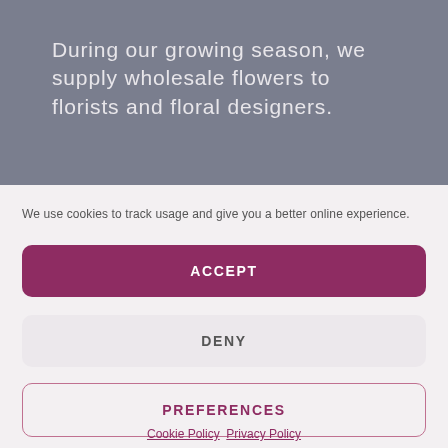During our growing season, we supply wholesale flowers to florists and floral designers.
We use cookies to track usage and give you a better online experience.
ACCEPT
DENY
PREFERENCES
Cookie Policy   Privacy Policy